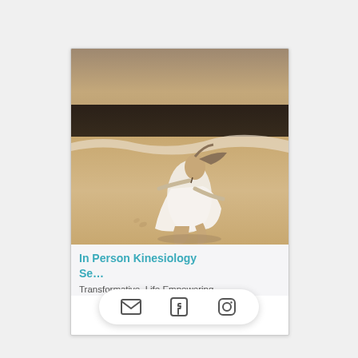[Figure (photo): Sepia-toned photograph of a woman in a white dress sitting/posing on a sandy beach, leaning back with head tilted up, ocean waves in the background.]
In Person Kinesiology Se…
Transformative, Life Empowering
[Figure (screenshot): Mobile share action bar showing email (envelope), Facebook, and Instagram icons in a white pill-shaped overlay.]